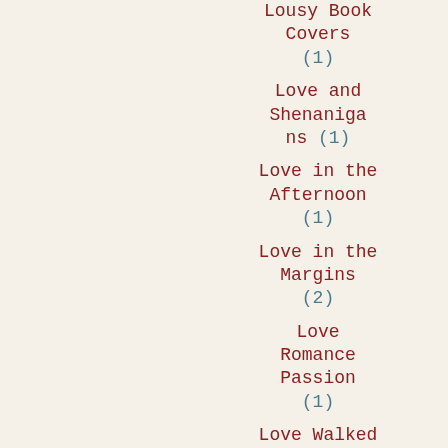Lousy Book Covers (1)
Love and Shenanigans (1)
Love in the Afternoon (1)
Love in the Margins (2)
Love Romance Passion (1)
Love Walked In (1)